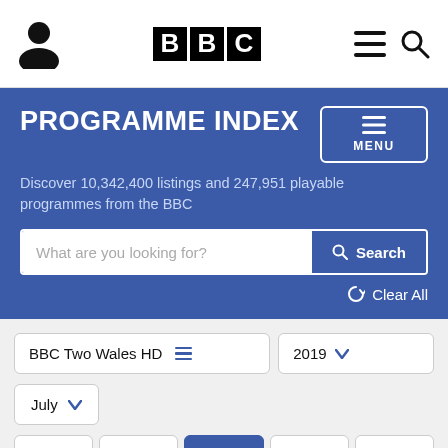BBC Programme Index header navigation
PROGRAMME INDEX
Discover 10,342,400 listings and 247,951 playable programmes from the BBC
What are you looking for? Search | Clear All
BBC Two Wales HD  2019  July
Wed  Thu  Fri  Sat  Sun